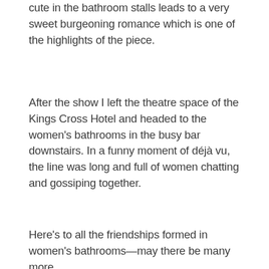cute in the bathroom stalls leads to a very sweet burgeoning romance which is one of the highlights of the piece.
After the show I left the theatre space of the Kings Cross Hotel and headed to the women's bathrooms in the busy bar downstairs. In a funny moment of déjà vu, the line was long and full of women chatting and gossiping together.
Here's to all the friendships formed in women's bathrooms—may there be many more.